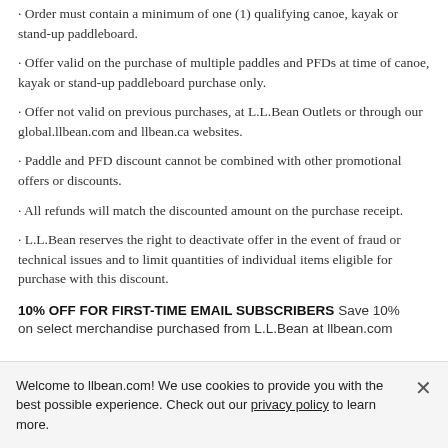· Order must contain a minimum of one (1) qualifying canoe, kayak or stand-up paddleboard.
· Offer valid on the purchase of multiple paddles and PFDs at time of canoe, kayak or stand-up paddleboard purchase only.
· Offer not valid on previous purchases, at L.L.Bean Outlets or through our global.llbean.com and llbean.ca websites.
· Paddle and PFD discount cannot be combined with other promotional offers or discounts.
· All refunds will match the discounted amount on the purchase receipt.
· L.L.Bean reserves the right to deactivate offer in the event of fraud or technical issues and to limit quantities of individual items eligible for purchase with this discount.
10% OFF FOR FIRST-TIME EMAIL SUBSCRIBERS Save 10% on select merchandise purchased from L.L.Bean at llbean.com
Welcome to llbean.com! We use cookies to provide you with the best possible experience. Check out our privacy policy to learn more.